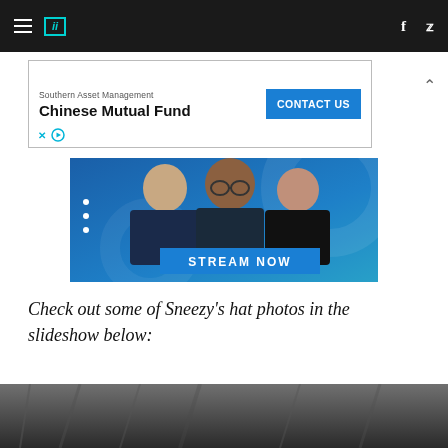HuffPost navigation with hamburger menu, logo, Facebook and Twitter icons
[Figure (screenshot): Advertisement banner for Southern Asset Management Chinese Mutual Fund with Contact Us button]
[Figure (photo): NBC News promo image showing three news anchors on blue background with 'STREAM NOW' banner]
Check out some of Sneezy's hat photos in the slideshow below:
[Figure (photo): Partial grayscale photo at bottom of page, appears to be outdoor scene]